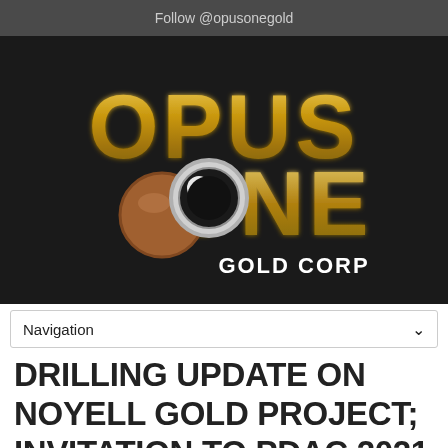Follow @opusonegold
[Figure (logo): Opus One Gold Corp logo on dark background — large stylized gold text 'OPUS ONE' with a magnifying glass/loupe instrument and 'GOLD CORP' in white bold text below]
Navigation
DRILLING UPDATE ON NOYELL GOLD PROJECT; INVITATION TO PDAC 2021 VIRTUAL BOOTH